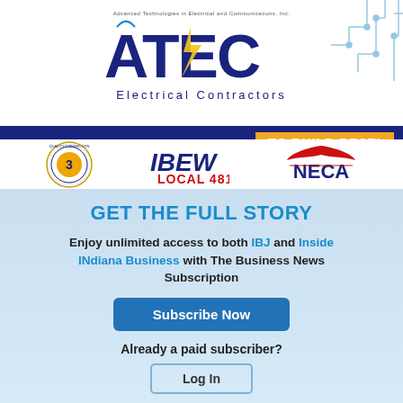[Figure (logo): ATEC - Advanced Technologies in Electrical and Communications, Inc. logo with blue bold letters, lightning bolt, 'Electrical Contractors' subtitle, and circuit board decorative element top right]
[Figure (logo): Three logos in a row: Quality Connection certification seal, IBEW Local 481 logo in red and dark blue, NECA logo with eagle]
GET THE FULL STORY
Enjoy unlimited access to both IBJ and Inside INdiana Business with The Business News Subscription
Subscribe Now
Already a paid subscriber?
Log In